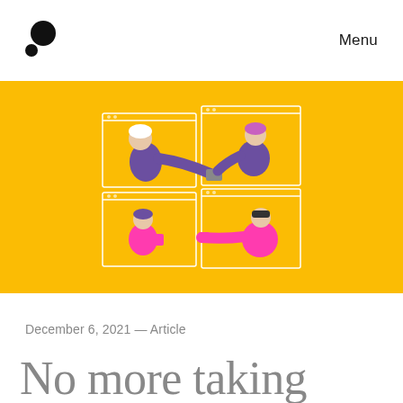Menu
[Figure (illustration): Illustration on yellow background showing four people in browser-style windows reaching out and exchanging items, depicted in purple and magenta colors]
December 6, 2021 — Article
No more taking